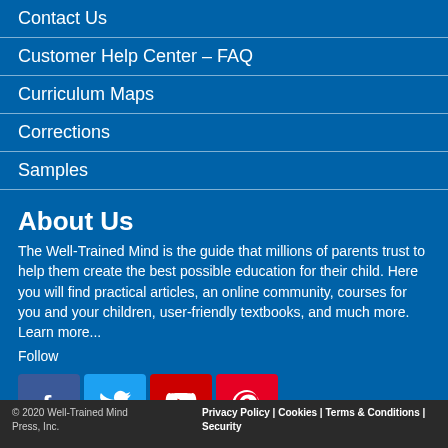Contact Us
Customer Help Center – FAQ
Curriculum Maps
Corrections
Samples
About Us
The Well-Trained Mind is the guide that millions of parents trust to help them create the best possible education for their child. Here you will find practical articles, an online community, courses for you and your children, user-friendly textbooks, and much more. Learn more...
Follow
[Figure (other): Social media icons: Facebook, Twitter, YouTube, Pinterest]
© 2020 Well-Trained Mind Press, Inc.   Privacy Policy | Cookies | Terms & Conditions | Security